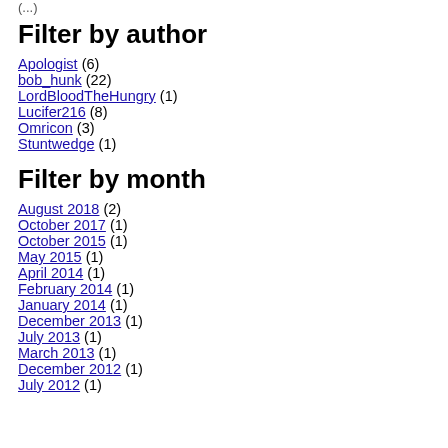Filter by author
Apologist (6)
bob_hunk (22)
LordBloodTheHungry (1)
Lucifer216 (8)
Omricon (3)
Stuntwedge (1)
Filter by month
August 2018 (2)
October 2017 (1)
October 2015 (1)
May 2015 (1)
April 2014 (1)
February 2014 (1)
January 2014 (1)
December 2013 (1)
July 2013 (1)
March 2013 (1)
December 2012 (1)
July 2012 (1)